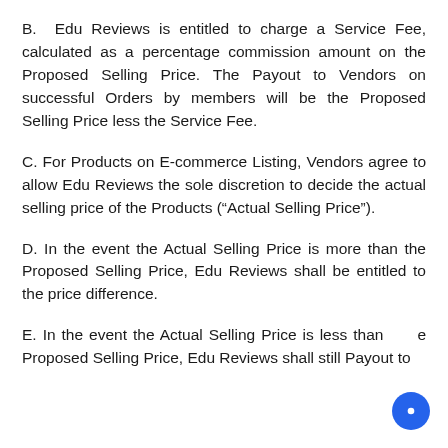B. Edu Reviews is entitled to charge a Service Fee, calculated as a percentage commission amount on the Proposed Selling Price. The Payout to Vendors on successful Orders by members will be the Proposed Selling Price less the Service Fee.
C. For Products on E-commerce Listing, Vendors agree to allow Edu Reviews the sole discretion to decide the actual selling price of the Products (“Actual Selling Price”).
D. In the event the Actual Selling Price is more than the Proposed Selling Price, Edu Reviews shall be entitled to the price difference.
E. In the event the Actual Selling Price is less than the Proposed Selling Price, Edu Reviews shall still Payout to